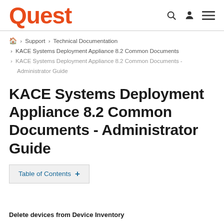Quest
Home > Support > Technical Documentation > KACE Systems Deployment Appliance 8.2 Common Documents > KACE Systems Deployment Appliance 8.2 Common Documents - Administrator Guide
KACE Systems Deployment Appliance 8.2 Common Documents - Administrator Guide
Table of Contents +
Delete devices from Device Inventory